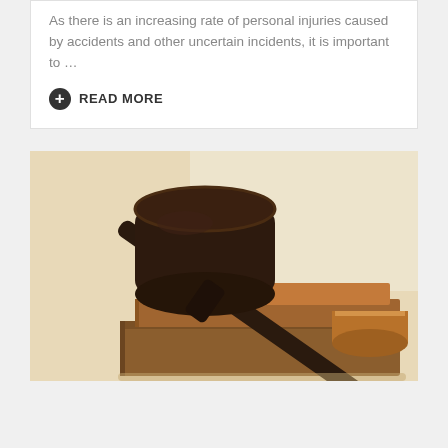As there is an increasing rate of personal injuries caused by accidents and other uncertain incidents, it is important to …
READ MORE
[Figure (photo): A wooden judge's gavel resting on top of a stack of law books, on a light beige background. The gavel is dark brown/black with a cylindrical head.]